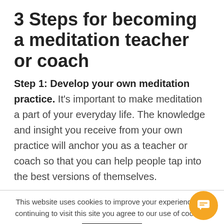3 Steps for becoming a meditation teacher or coach
Step 1: Develop your own meditation practice. It's important to make meditation a part of your everyday life. The knowledge and insight you receive from your own practice will anchor you as a teacher or coach so that you can help people tap into the best versions of themselves.
This website uses cookies to improve your experience. By continuing to visit this site you agree to our use of cookies.